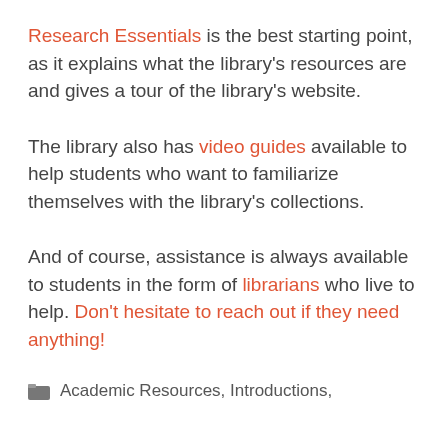Research Essentials is the best starting point, as it explains what the library's resources are and gives a tour of the library's website.
The library also has video guides available to help students who want to familiarize themselves with the library's collections.
And of course, assistance is always available to students in the form of librarians who live to help. Don't hesitate to reach out if they need anything!
Academic Resources, Introductions,